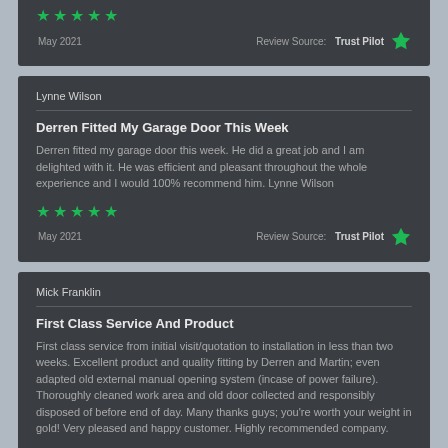[Figure (other): Five green stars rating]
May 2021
Review Source: Trust Pilot
Lynne Wilson
Derren Fitted My Garage Door This Week
Derren fitted my garage door this week. He did a great job and I am delighted with it. He was efficient and pleasant throughout the whole experience and I would 100% recommend him. Lynne Wilson
[Figure (other): Five green stars rating]
May 2021
Review Source: Trust Pilot
Mick Franklin
First Class Service And Product
First class service from initial visit/quotation to installation in less than two weeks. Excellent product and quality fitting by Derren and Martin; even adapted old external manual opening system (incase of power failure). Thoroughly cleaned work area and old door collected and responsibly disposed of before end of day. Many thanks guys; you're worth your weight in gold! Very pleased and happy customer. Highly recommended company.